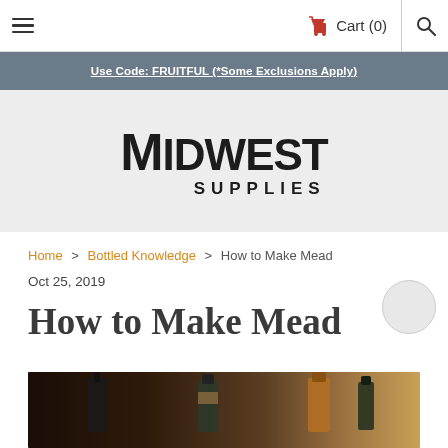≡  Cart (0)  🔍
Use Code: FRUITFUL (*Some Exclusions Apply)
[Figure (logo): Midwest Supplies logo — large bold text 'MIDWEST' with 'SUPPLIES' below in spaced capitals on a light gray background]
Home > Bottled Knowledge > How to Make Mead
Oct 25, 2019
How to Make Mead
[Figure (photo): Dark-toned photo showing several bottles including corked and capped glass bottles with varied colors, suggesting mead or wine bottles]